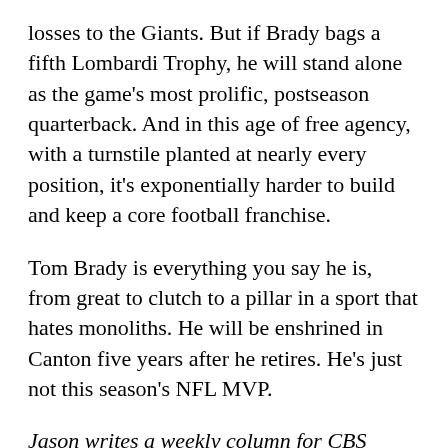losses to the Giants. But if Brady bags a fifth Lombardi Trophy, he will stand alone as the game's most prolific, postseason quarterback. And in this age of free agency, with a turnstile planted at nearly every position, it's exponentially harder to build and keep a core football franchise.
Tom Brady is everything you say he is, from great to clutch to a pillar in a sport that hates monoliths. He will be enshrined in Canton five years after he retires. He's just not this season's NFL MVP.
Jason writes a weekly column for CBS Local Sports. He is a native New Yorker, sans the elitist sensibilities, and believes there's a world west of the Hudson River. A Yankees devotee and Steelers groupie, he has been scouring the forest of fertile